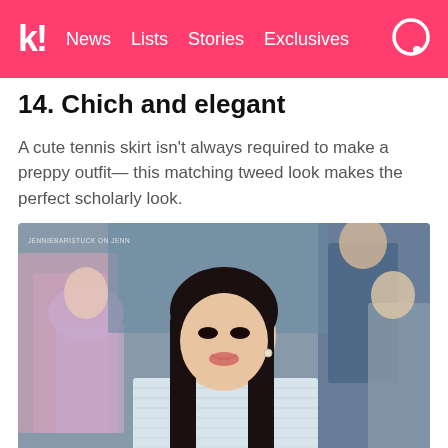k! News Lists Stories Exclusives
14. Chich and elegant
A cute tennis skirt isn't always required to make a preppy outfit— this matching tweed look makes the perfect scholarly look.
[Figure (photo): Young woman with long dark hair wearing a light blue/white tweed blazer, seated at what appears to be a fashion show, with blurred audience members in the background. Watermark reads JENNIEBARISTUCK ON JENN.]